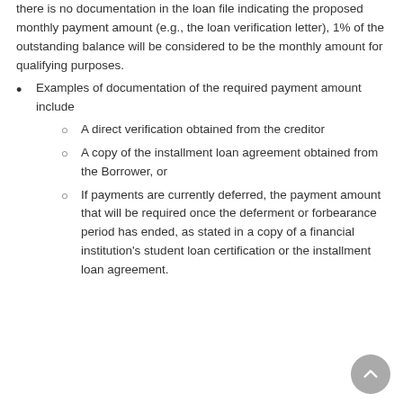there is no documentation in the loan file indicating the proposed monthly payment amount (e.g., the loan verification letter), 1% of the outstanding balance will be considered to be the monthly amount for qualifying purposes.
Examples of documentation of the required payment amount include
A direct verification obtained from the creditor
A copy of the installment loan agreement obtained from the Borrower, or
If payments are currently deferred, the payment amount that will be required once the deferment or forbearance period has ended, as stated in a copy of a financial institution's student loan certification or the installment loan agreement.